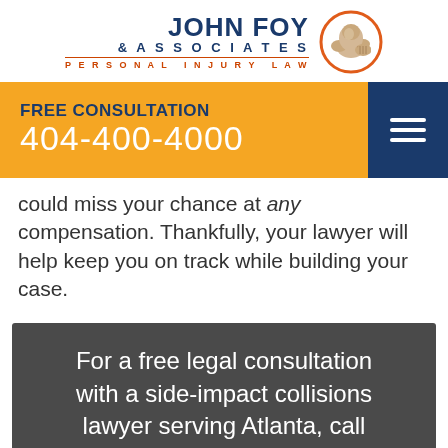[Figure (logo): John Foy & Associates Personal Injury Law logo with flexing arm icon in orange circle]
FREE CONSULTATION
404-400-4000
could miss your chance at any compensation. Thankfully, your lawyer will help keep you on track while building your case.
For a free legal consultation with a side-impact collisions lawyer serving Atlanta, call